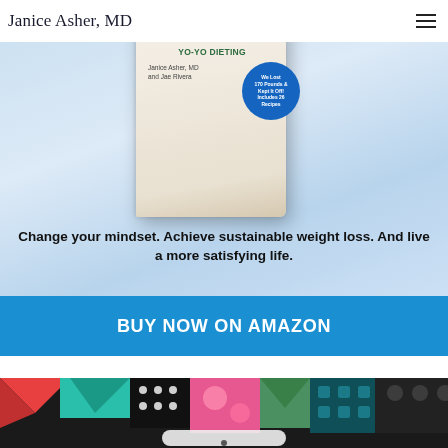Janice Asher, MD
[Figure (photo): Website screenshot showing a book cover for a weight loss book by Janice Asher MD and Jae Rivera, with tagline text and a blue Buy Now on Amazon button]
Change your mindset. Achieve sustainable weight loss. And live a more satisfying life.
BUY NOW ON AMAZON
[Figure (photo): Colorful quilt pattern image at bottom of page]